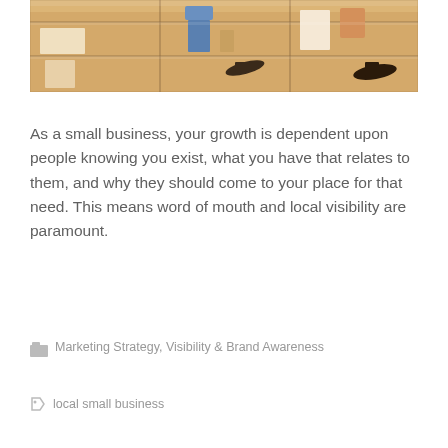[Figure (photo): Interior of a retail store showing display shelves with handbags, shoes, and accessories. Warm beige and brown tones with glass shelving units.]
As a small business, your growth is dependent upon people knowing you exist, what you have that relates to them, and why they should come to your place for that need. This means word of mouth and local visibility are paramount.
Marketing Strategy, Visibility & Brand Awareness
local small business